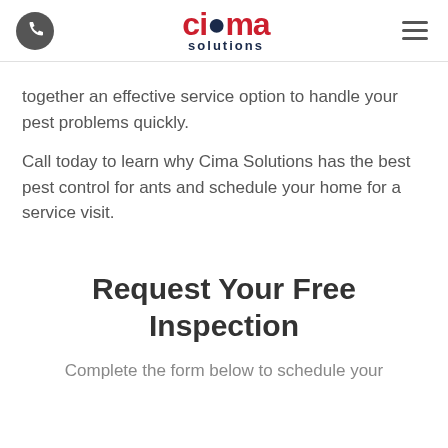Cima Solutions — navigation header with phone icon and hamburger menu
together an effective service option to handle your pest problems quickly.
Call today to learn why Cima Solutions has the best pest control for ants and schedule your home for a service visit.
Request Your Free Inspection
Complete the form below to schedule your